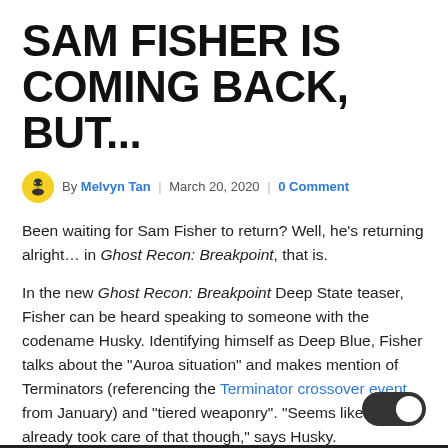SAM FISHER IS COMING BACK, BUT...
By Melvyn Tan | March 20, 2020 | 0 Comment
Been waiting for Sam Fisher to return? Well, he's returning alright… in Ghost Recon: Breakpoint, that is.
In the new Ghost Recon: Breakpoint Deep State teaser, Fisher can be heard speaking to someone with the codename Husky. Identifying himself as Deep Blue, Fisher talks about the "Auroa situation" and makes mention of Terminators (referencing the Terminator crossover event from January) and "tiered weaponry". "Seems like they already took care of that though," says Husky.